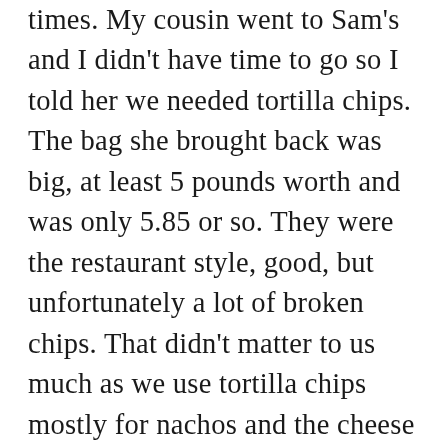times. My cousin went to Sam's and I didn't have time to go so I told her we needed tortilla chips. The bag she brought back was big, at least 5 pounds worth and was only 5.85 or so. They were the restaurant style, good, but unfortunately a lot of broken chips. That didn't matter to us much as we use tortilla chips mostly for nachos and the cheese just holds it all together anyways. Cucumbers have been .49/ea for a couple weeks so keep buying those and red and yellow peppers have